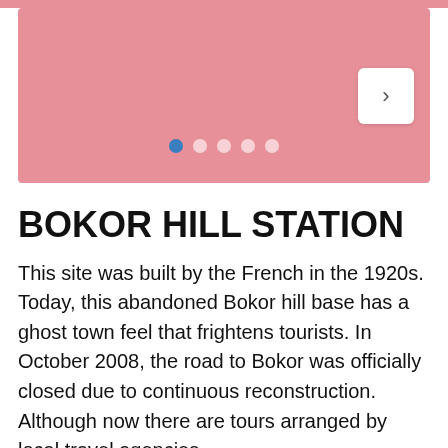[Figure (other): Pink carousel/slider UI element with 5 navigation dots (first dot active in blue) and a white next-arrow button on the right side]
BOKOR HILL STATION
This site was built by the French in the 1920s. Today, this abandoned Bokor hill base has a ghost town feel that frightens tourists. In October 2008, the road to Bokor was officially closed due to continuous reconstruction. Although now there are tours arranged by local travel agencies.
Bokor Hill Station, located near Kampot, was built by the French in 1920 as a retreat from the heat of